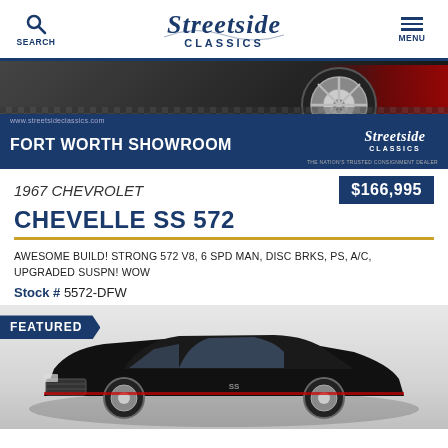SEARCH | Streetside Classics | MENU
[Figure (photo): Partial rear view of a classic car at Streetside Classics Fort Worth Showroom, with checkered floor and blue banner overlay showing www.streetsideclassics.com FORT WORTH SHOWROOM]
1967 CHEVROLET
$166,995
CHEVELLE SS 572
AWESOME BUILD! STRONG 572 V8, 6 SPD MAN, DISC BRKS, PS, A/C, UPGRADED SUSPN! WOW
Stock # 5572-DFW
[Figure (photo): Black 1967 Chevrolet Chevelle SS 572 muscle car photographed from front-left angle in a showroom, with FEATURED badge overlay in upper left]